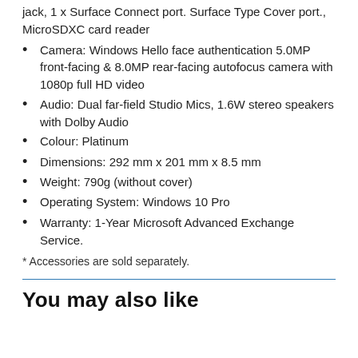jack, 1 x Surface Connect port. Surface Type Cover port., MicroSDXC card reader
Camera: Windows Hello face authentication 5.0MP front-facing & 8.0MP rear-facing autofocus camera with 1080p full HD video
Audio: Dual far-field Studio Mics, 1.6W stereo speakers with Dolby Audio
Colour: Platinum
Dimensions: 292 mm x 201 mm x 8.5 mm
Weight: 790g (without cover)
Operating System: Windows 10 Pro
Warranty: 1-Year Microsoft Advanced Exchange Service.
* Accessories are sold separately.
You may also like